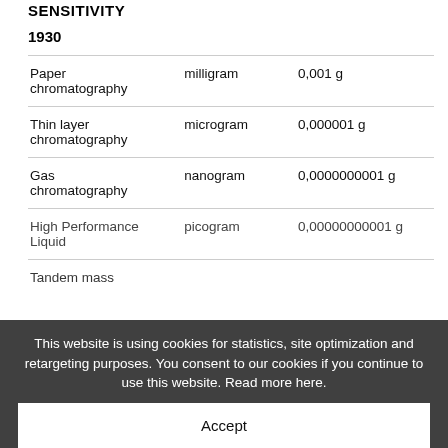SENSITIVITY
1930
|  |  |  |
| --- | --- | --- |
| Paper chromatography | milligram | 0,001 g |
| Thin layer chromatography | microgram | 0,000001 g |
| Gas chromatography | nanogram | 0,0000000001 g |
| High Performance Liquid | picogram | 0,00000000001 g |
| Tandem mass |  |  |
This website is using cookies for statistics, site optimization and retargeting purposes. You consent to our cookies if you continue to use this website. Read more here.
Accept